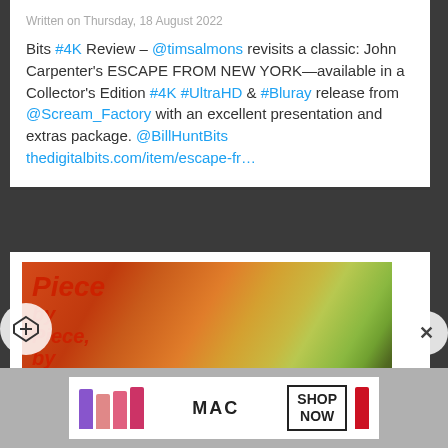Written on Thursday, 18 August 2022
Bits #4K Review – @timsalmons revisits a classic: John Carpenter's ESCAPE FROM NEW YORK—available in a Collector's Edition #4K #UltraHD & #Bluray release from @Scream_Factory with an excellent presentation and extras package. @BillHuntBits thedigitalbits.com/item/escape-fr…
[Figure (illustration): Movie art illustration for 'Piece by Piece, by Piece, the Puzzle...' showing a woman in red cape and a monster with green face, in orange/yellow/green tones]
[Figure (advertisement): MAC cosmetics advertisement showing colorful lipsticks with 'MAC' logo and 'SHOP NOW' button on white background]